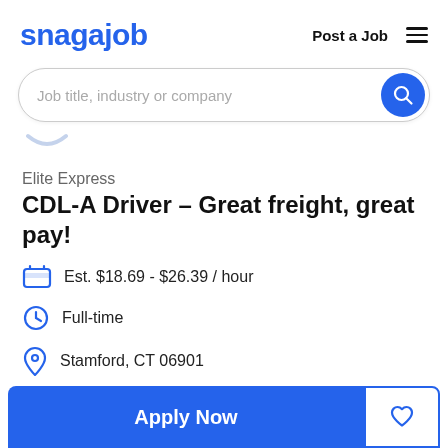snagajob | Post a Job
[Figure (screenshot): Search bar with placeholder text 'Job title, industry or company' and a blue circular search button on the right]
Elite Express
CDL-A Driver - Great freight, great pay!
Est. $18.69 - $26.39 / hour
Full-time
Stamford, CT 06901
Apply Now